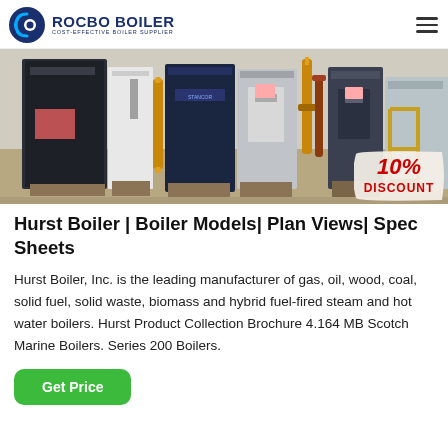ROCBO BOILER — COST-EFFECTIVE BOILER SUPPLIER
[Figure (photo): Industrial boilers in a manufacturing facility, showing multiple boiler units with gas pipes and connections. A 10% DISCOUNT badge overlaid in bottom-right corner.]
Hurst Boiler | Boiler Models| Plan Views| Spec Sheets
Hurst Boiler, Inc. is the leading manufacturer of gas, oil, wood, coal, solid fuel, solid waste, biomass and hybrid fuel-fired steam and hot water boilers. Hurst Product Collection Brochure 4.164 MB Scotch Marine Boilers. Series 200 Boilers.
Get Price